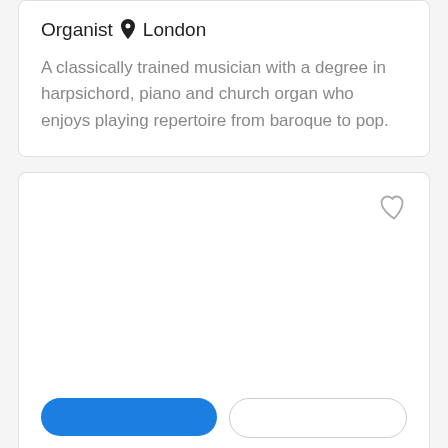Organist 📍 London
A classically trained musician with a degree in harpsichord, piano and church organ who enjoys playing repertoire from baroque to pop.
[Figure (other): A card UI element with a heart/favourite icon in the top-right corner and two buttons (primary blue and secondary white) at the bottom.]